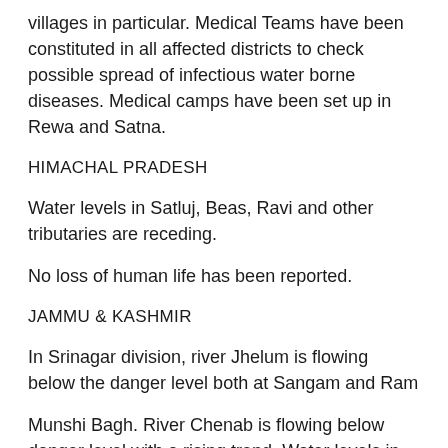villages in particular. Medical Teams have been constituted in all affected districts to check possible spread of infectious water borne diseases. Medical camps have been set up in Rewa and Satna.
HIMACHAL PRADESH
Water levels in Satluj, Beas, Ravi and other tributaries are receding.
No loss of human life has been reported.
JAMMU & KASHMIR
In Srinagar division, river Jhelum is flowing below the danger level both at Sangam and Ram
Munshi Bagh. River Chenab is flowing below danger level with a rising trend. Water levels in all